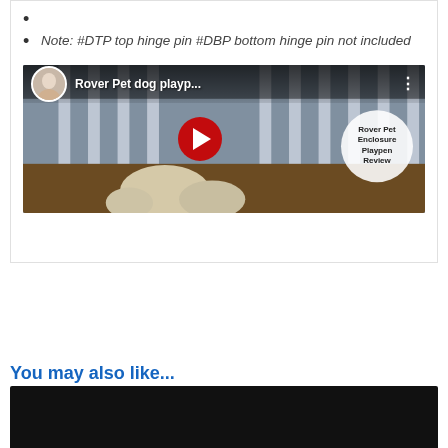Note: #DTP top hinge pin #DBP bottom hinge pin not included
[Figure (screenshot): YouTube video thumbnail for 'Rover Pet dog playp...' showing a dog enclosure/playpen review video with a play button and a circular label reading 'Rover Pet Enclosure Playpen Review']
You may also like...
[Figure (photo): Dark/black image at the bottom of the page, partially cut off]